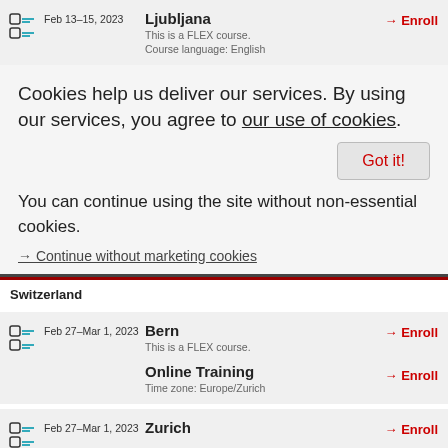Feb 13–15, 2023 | Ljubljana | This is a FLEX course. | Course language: English | → Enroll
Cookies help us deliver our services. By using our services, you agree to our use of cookies.
Got it!
You can continue using the site without non-essential cookies.
→ Continue without marketing cookies
Switzerland
Feb 27–Mar 1, 2023 | Bern | This is a FLEX course. | → Enroll
Feb 27–Mar 1, 2023 | Online Training | Time zone: Europe/Zurich | → Enroll
Feb 27–Mar 1, 2023 | Zurich | → Enroll